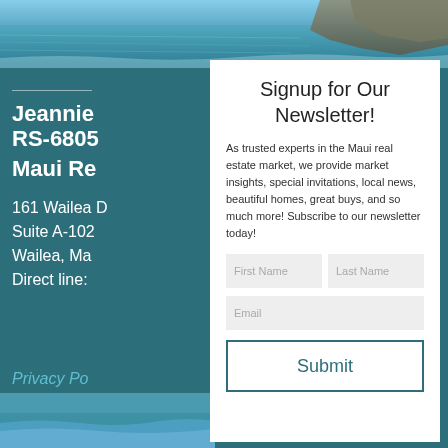[Figure (photo): Coastal ocean scene with rocky shoreline and blue water, spanning full width at top]
Jeannie
RS-6805
Maui Re
161 Wailea D
Suite A-102
Wailea, Ma
Direct line:
Privacy Po
Signup for Our Newsletter!
As trusted experts in the Maui real estate market, we provide market insights, special invitations, local news, beautiful homes, great buys, and so much more! Subscribe to our newsletter today!
First Name
Last Name
Email
Submit
[Figure (photo): Small coastal photo thumbnail at bottom left]